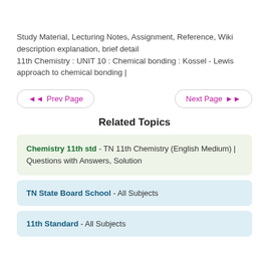Study Material, Lecturing Notes, Assignment, Reference, Wiki description explanation, brief detail
11th Chemistry : UNIT 10 : Chemical bonding : Kossel - Lewis approach to chemical bonding |
◄◄ Prev Page    Next Page ►►
Related Topics
Chemistry 11th std - TN 11th Chemistry (English Medium) | Questions with Answers, Solution
TN State Board School - All Subjects
11th Standard - All Subjects